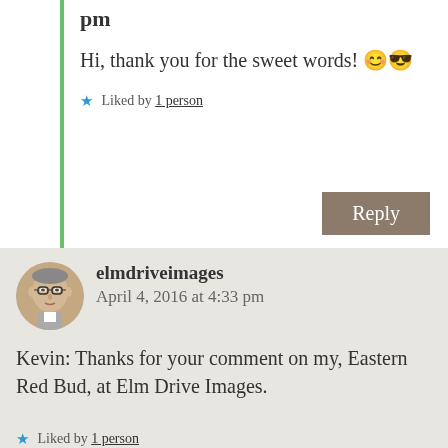pm
Hi, thank you for the sweet words! 😊😎
★ Liked by 1 person
Reply
elmdriveimages
April 4, 2016 at 4:33 pm
[Figure (photo): Profile photo of elmdriveimages user, older man with glasses]
Kevin: Thanks for your comment on my, Eastern Red Bud, at Elm Drive Images.
★ Liked by 1 person